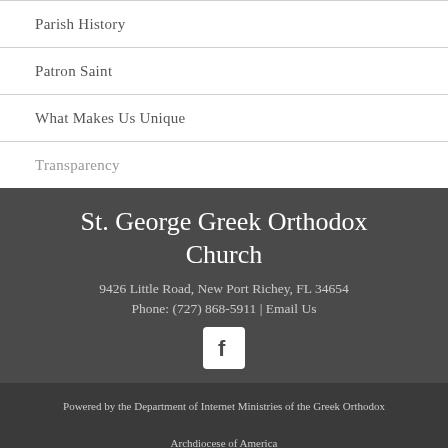Parish History
Patron Saint
What Makes Us Unique
Transparency
St. George Greek Orthodox Church
9426 Little Road, New Port Richey, FL 34654
Phone: (727) 868-5911 | Email Us
[Figure (logo): Facebook logo icon, white F on white square background]
Powered by the Department of Internet Ministries of the Greek Orthodox Archdiocese of America